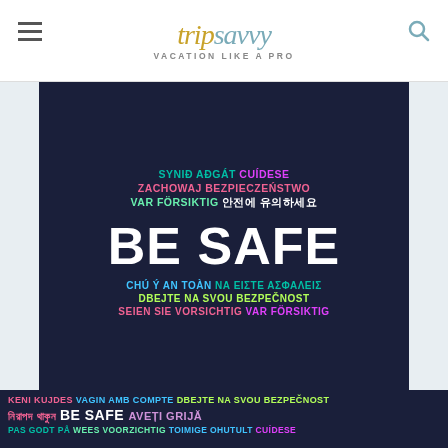tripsavvy — VACATION LIKE A PRO
[Figure (infographic): Dark navy background infographic with 'BE SAFE' in large white text surrounded by multilingual safety phrases in various colors (teal, magenta, pink, green, white, cyan). Languages include Welsh, Icelandic, Spanish, Polish, Swedish, Korean, Vietnamese, Greek, Czech, German, Norwegian.]
[Figure (photo): Two small thumbnail images at the bottom: left shows people in an airport/transit area, right shows a building exterior with a logo against blue sky. An 'Ad' label appears on the right thumbnail.]
[Figure (infographic): Bottom dark banner repeating 'BE SAFE' message in multiple languages: KENI KUJDES, VAGIN AMB COMPTE, DBEJTE NA SVOU BEZPEČNOST, Bengali text, BE SAFE, AVEȚI GRIJĂ, PAS GODT PÅ, WEES VOORZICHTIG, TOIMIGE OHUTULT, CUÍDESE]